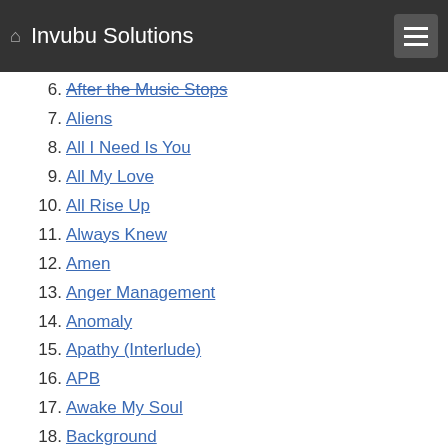Invubu Solutions
6. After the Music Stops
7. Aliens
8. All I Need Is You
9. All My Love
10. All Rise Up
11. Always Knew
12. Amen
13. Anger Management
14. Anomaly
15. Apathy (Interlude)
16. APB
17. Awake My Soul
18. Background
19. Battle Song
20. Bear With You
21. Beautiful Feet
22. Beautiful Life
23. Beautiful Life 2